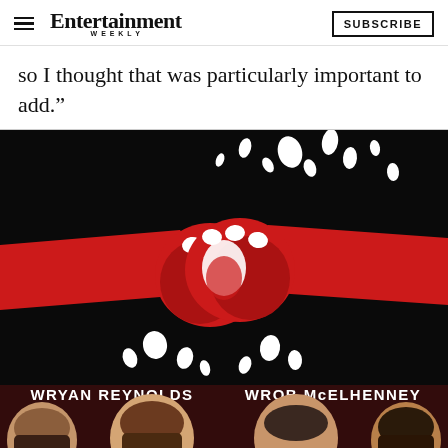Entertainment Weekly — SUBSCRIBE
so I thought that was particularly important to add.”
[Figure (photo): Movie/documentary promotional image showing two red fists bumping against a black background with white confetti-like shapes, with text 'WRYAN REYNOLDS' and 'WROB McELHENNEY' overlaid, and crowd plus four men visible at the bottom.]